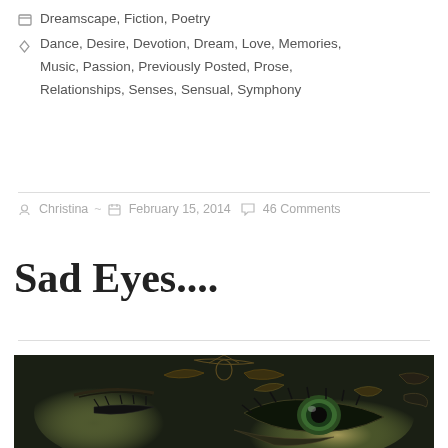Dreamscape, Fiction, Poetry
Dance, Desire, Devotion, Dream, Love, Memories, Music, Passion, Previously Posted, Prose, Relationships, Senses, Sensual, Symphony
Christina ~ February 15, 2014  46 Comments
Sad Eyes....
[Figure (photo): Close-up artistic photo of a decorated eye with ornate masquerade-style face paint and jewelry, dark green and gold tones]